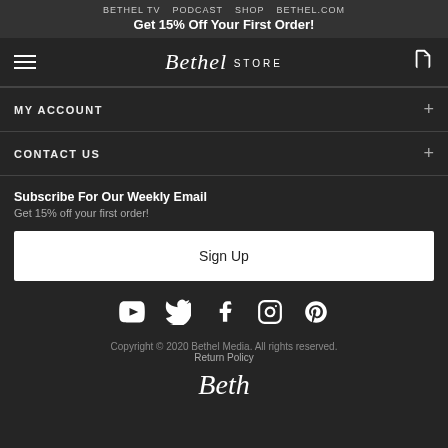BETHEL TV   PODCAST   SHOP   BETHEL.COM
Get 15% Off Your First Order!
[Figure (logo): Bethel Store logo with hamburger menu and cart icon]
MY ACCOUNT
CONTACT US
Subscribe For Our Weekly Email
Get 15% off your first order!
Sign Up
[Figure (other): Social media icons: YouTube, Twitter, Facebook, Instagram, Pinterest]
Copyright © 2020 Bethel Media. All rights reserved.
Return Policy